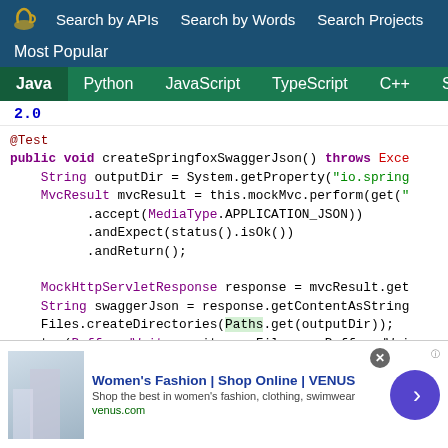Search by APIs  Search by Words  Search Projects
Most Popular
Java  Python  JavaScript  TypeScript  C++  Scala
2.0
[Figure (screenshot): Java code snippet showing a test method createSpringfoxSwaggerJson() with MockMvc, MvcResult, and file writing operations]
[Figure (screenshot): Advertisement: Women's Fashion | Shop Online | VENUS - venus.com]